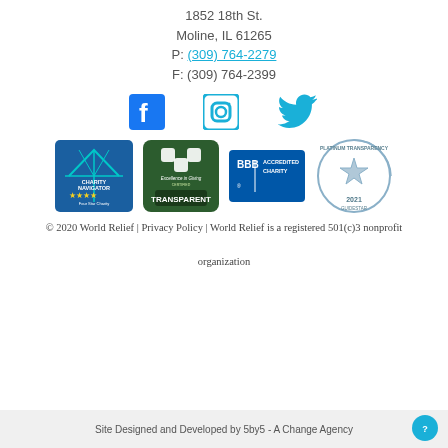1852 18th St.
Moline, IL 61265
P: (309) 764-2279
F: (309) 764-2399
[Figure (infographic): Facebook, Instagram, and Twitter social media icons in blue]
[Figure (infographic): Four charity badge logos: Charity Navigator Four Star Charity, Excellence in Giving Certified Transparent, BBB Accredited Charity, GuideStar Platinum Transparency 2021]
© 2020 World Relief | Privacy Policy | World Relief is a registered 501(c)3 nonprofit organization
Site Designed and Developed by 5by5 - A Change Agency